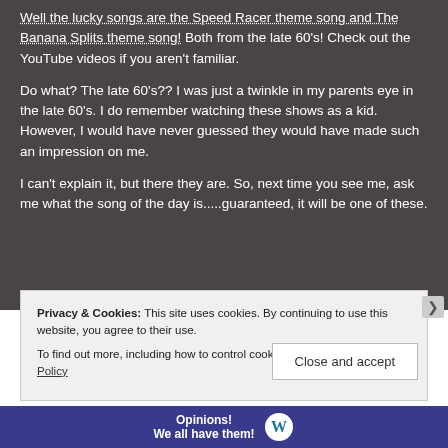Well the lucky songs are the Speed Racer theme song and The Banana Splits theme song!  Both from the late 60's!  Check out the YouTube videos if you aren't familiar.
Do what?  The late 60's??  I was just a twinkle in my parents eye in the late 60's.  I do remember watching these shows as a kid.  However, I would have never guessed they would have made such an impression on me.
I can't explain it, but there they are.  So, next time you see me, ask me what the song of the day is.....guaranteed, it will be one of these.
Privacy & Cookies: This site uses cookies. By continuing to use this website, you agree to their use.
To find out more, including how to control cookies, see here: Cookie Policy
Close and accept
Opinions! We all have them!